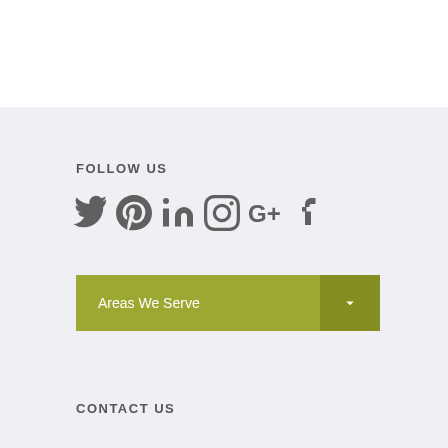FOLLOW US
[Figure (illustration): Social media icons: Twitter, Pinterest, LinkedIn, Instagram, Google+, Facebook]
[Figure (infographic): Areas We Serve dropdown button with chevron]
CONTACT US